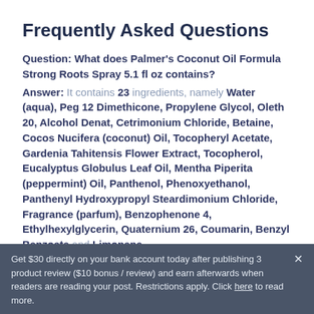Frequently Asked Questions
Question: What does Palmer's Coconut Oil Formula Strong Roots Spray 5.1 fl oz contains?
Answer: It contains 23 ingredients, namely Water (aqua), Peg 12 Dimethicone, Propylene Glycol, Oleth 20, Alcohol Denat, Cetrimonium Chloride, Betaine, Cocos Nucifera (coconut) Oil, Tocopheryl Acetate, Gardenia Tahitensis Flower Extract, Tocopherol, Eucalyptus Globulus Leaf Oil, Mentha Piperita (peppermint) Oil, Panthenol, Phenoxyethanol, Panthenyl Hydroxypropyl Steardimonium Chloride, Fragrance (parfum), Benzophenone 4, Ethylhexylglycerin, Quaternium 26, Coumarin, Benzyl Benzoate and Limonene.
Get $30 directly on your bank account today after publishing 3 product review ($10 bonus / review) and earn afterwards when readers are reading your post. Restrictions apply. Click here to read more.